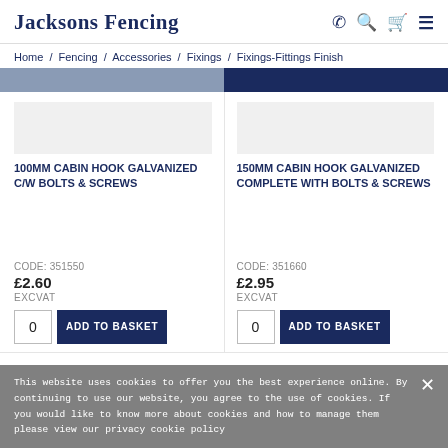Jacksons Fencing
Home / Fencing / Accessories / Fixings / Fixings-Fittings Finish
100MM CABIN HOOK GALVANIZED C/W BOLTS & SCREWS
CODE: 351550
£2.60
EXCVAT
150MM CABIN HOOK GALVANIZED COMPLETE WITH BOLTS & SCREWS
CODE: 351660
£2.95
EXCVAT
This website uses cookies to offer you the best experience online. By continuing to use our website, you agree to the use of cookies. If you would like to know more about cookies and how to manage them please view our privacy cookie policy